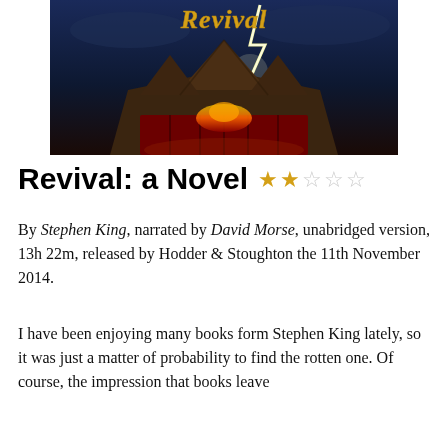[Figure (illustration): Book cover of 'Revival: a Novel' by Stephen King, showing a dark circus tent illuminated by lightning on a blue stormy night background, with the word 'Revival' in golden script at the top.]
Revival: a Novel ★★☆☆☆
By Stephen King, narrated by David Morse, unabridged version, 13h 22m, released by Hodder & Stoughton the 11th November 2014.
I have been enjoying many books form Stephen King lately, so it was just a matter of probability to find the rotten one. Of course, the impression that books leave